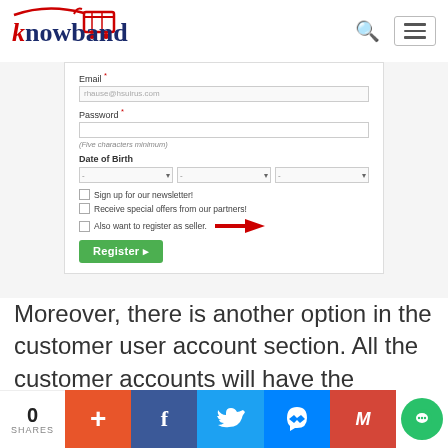[Figure (logo): Knowband logo with shopping cart icon in red and dark blue text]
[Figure (screenshot): Registration form showing Email field with placeholder 'rhause@hsuirus.com', Password field with hint '(Five characters minimum)', Date of Birth dropdowns, checkboxes for 'Sign up for our newsletter!', 'Receive special offers from our partners!', 'Also want to register as seller.' with red arrow pointing to it, and a green Register button]
Moreover, there is another option in the customer user account section. All the customer accounts will have the “Register as a seller” in My Account
[Figure (infographic): Social share bar with 0 SHARES count, and buttons for Add (+), Facebook, Twitter, Messenger, Gmail, and chat]